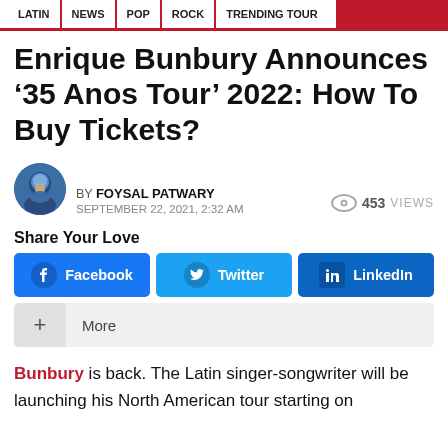LATIN | NEWS | POP | ROCK | TRENDING TOUR
Enrique Bunbury Announces '35 Anos Tour' 2022: How To Buy Tickets?
BY FOYSAL PATWARY
SEPTEMBER 22, 2021, 2:32 AM
453 VIEWS
Share Your Love
Facebook | Twitter | LinkedIn | More
Bunbury is back. The Latin singer-songwriter will be launching his North American tour starting on